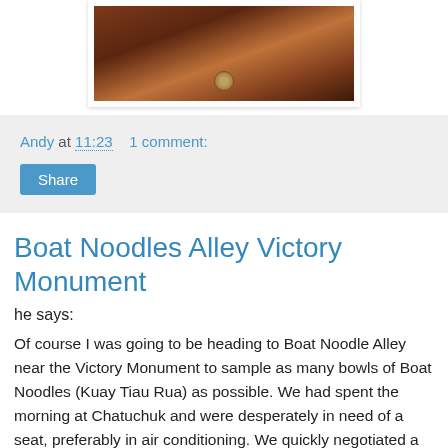[Figure (photo): Close-up photo of coffee beans in a wooden bowl or container, partially cropped at top]
Andy at 11:23    1 comment:
Share
Boat Noodles Alley Victory Monument
he says:
Of course I was going to be heading to Boat Noodle Alley near the Victory Monument to sample as many bowls of Boat Noodles (Kuay Tiau Rua) as possible. We had spent the morning at Chatuchuk and were desperately in need of a seat, preferably in air conditioning. We quickly negotiated a tuk tuk to take us to Victory Monument so I could get a fix of the most popular Boat Noodles in Bangkok. At 9 baht (30 cents) a bowl I reckon they are probably the cheapest too.